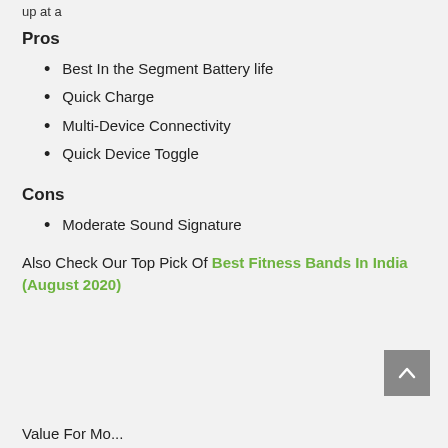up at a
Pros
Best In the Segment Battery life
Quick Charge
Multi-Device Connectivity
Quick Device Toggle
Cons
Moderate Sound Signature
Also Check Our Top Pick Of Best Fitness Bands In India (August 2020)
Value For Mo...